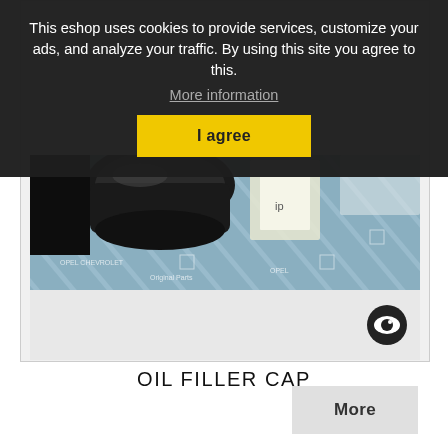This eshop uses cookies to provide services, customize your ads, and analyze your traffic. By using this site you agree to this.
More information
I agree
[Figure (photo): Product photo of an oil filler cap, shown partially, against a blue patterned packaging background]
OIL FILLER CAP
More